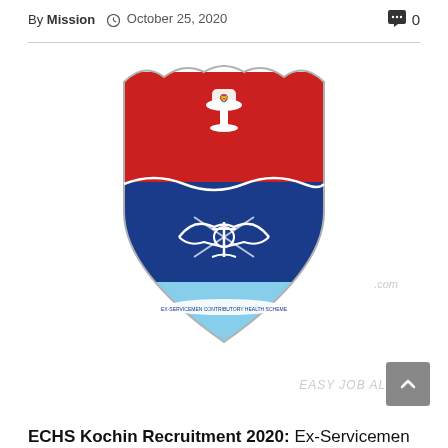By Mission  October 25, 2020   0
[Figure (logo): ECHS (Ex-Servicemen Contributory Health Scheme) logo - a shield shape with red upper half showing the Indian national emblem (Ashoka Pillar), blue middle section with crossed military insignia (eagle, anchor, crossed swords), and light blue lower chevron with a banner reading 'Ex-Servicemen Contributory Health Scheme']
ECHS Kochin Recruitment 2020: Ex-Servicemen